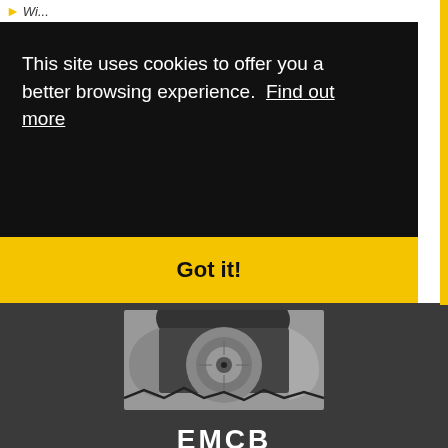This site uses cookies to offer you a better browsing experience.  Find out more
Got it!
[Figure (logo): EMCO brand logo with circular mechanical cutting tool graphic in grey tones on dark background]
EMCB...